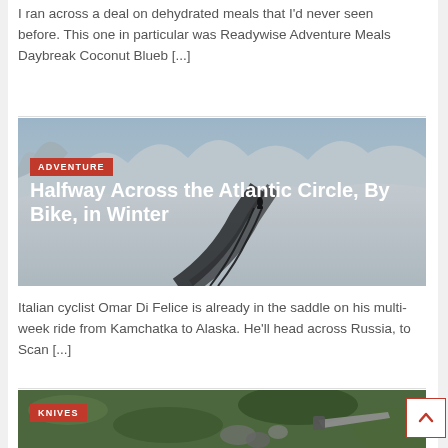I ran across a deal on dehydrated meals that I'd never seen before. This one in particular was Readywise Adventure Meals Daybreak Coconut Blueb [...]
[Figure (photo): Snowy winter landscape with a lone cyclist on a dark road, snow-covered rocks and trees in background. Red 'ADVENTURE' category tag overlay. White title text: 'Halfway Across the Atlantic Circle, By Bike, in Winter']
Italian cyclist Omar Di Felice is already in the saddle on his multi-week ride from Kamchatka to Alaska. He'll head across Russia, to Scan [...]
[Figure (photo): Close-up photo of a knife among foliage and rocks. Red 'KNIVES' category tag overlay.]